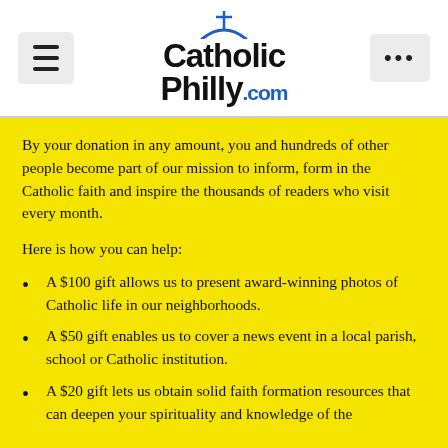[Figure (logo): CatholicPhilly.com logo with cross on top, blue .com suffix]
By your donation in any amount, you and hundreds of other people become part of our mission to inform, form in the Catholic faith and inspire the thousands of readers who visit every month.
Here is how you can help:
A $100 gift allows us to present award-winning photos of Catholic life in our neighborhoods.
A $50 gift enables us to cover a news event in a local parish, school or Catholic institution.
A $20 gift lets us obtain solid faith formation resources that can deepen your spirituality and knowledge of the